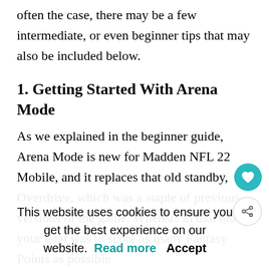often the case, there may be a few intermediate, or even beginner tips that may also be included below.
1. Getting Started With Arena Mode
As we explained in the beginner guide, Arena Mode is new for Madden NFL 22 Mobile, and it replaces that old standby, Overdrive, which was a staple of previous versions of the game. Whereas in that mode your goal was to score as many Fantasy Points as possible
while playing on offense, that changes in Arena, where each battle against an opposing team is conducted via a series of "tradition... drives
This website uses cookies to ensure you get the best experience on our website. Read more   Accept